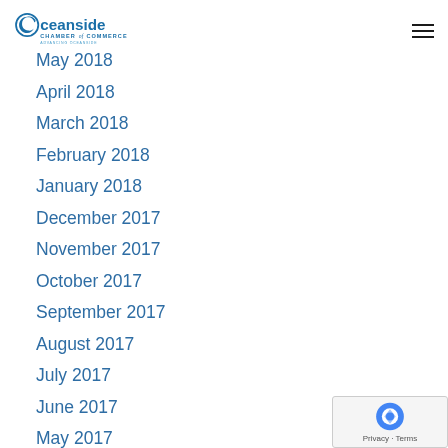Oceanside Chamber of Commerce — Advancing Oceanside
May 2018
April 2018
March 2018
February 2018
January 2018
December 2017
November 2017
October 2017
September 2017
August 2017
July 2017
June 2017
May 2017